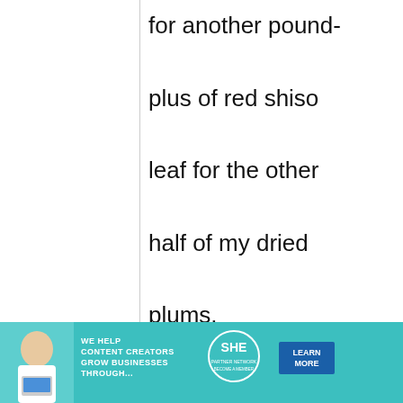for another pound-plus of red shiso leaf for the other half of my dried plums.

A quandary, though, Maki, along the lines of Shari's above, that I hope is a small one: Half the reserved brine does not quite
[Figure (infographic): Advertisement banner: teal background with a woman holding a laptop, SHE Partner Network logo, text 'WE HELP CONTENT CREATORS GROW BUSINESSES THROUGH...', and a blue 'LEARN MORE' button.]